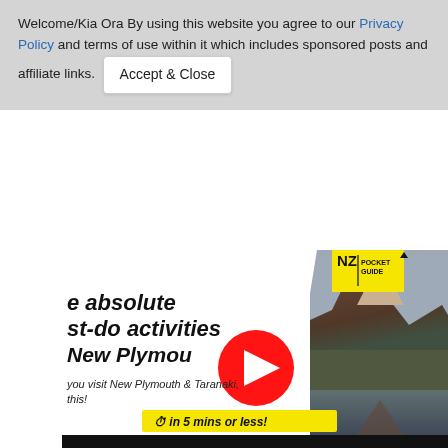Welcome/Kia Ora By using this website you agree to our Privacy Policy and terms of use within it which includes sponsored posts and affiliate links. [Accept & Close]
[Figure (screenshot): NZ Pocket Guide website screenshot showing a video thumbnail for 'The absolute must-do activities in New Plymouth' with a YouTube play button overlay, a mountain (Mt Taranaki) photo on the right, NZ Pocket Guide logo badge, subtitle text about visiting New Plymouth & Taranaki, and a yellow bar reading 'in 5 mins or less!'. Below is a black video player bar.]